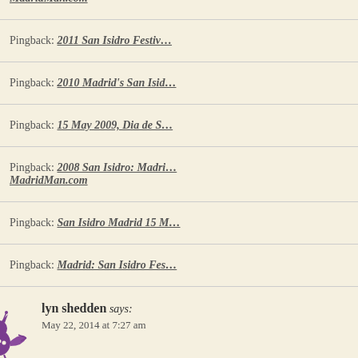Pingback: 2011 San Isidro Festiv…
Pingback: 2010 Madrid's San Isid…
Pingback: 15 May 2009, Dia de S…
Pingback: 2008 San Isidro: Madri… MadridMan.com
Pingback: San Isidro Madrid 15 M…
Pingback: Madrid: San Isidro Fes…
lyn shedden says: May 22, 2014 at 7:27 am